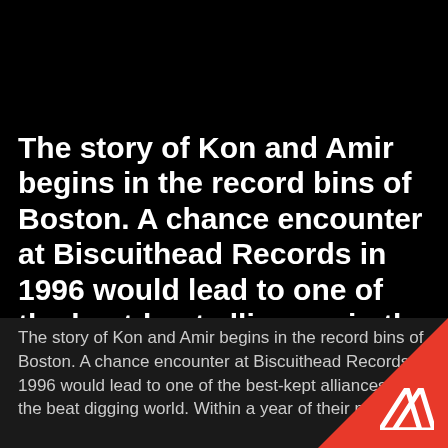The story of Kon and Amir begins in the record bins of Boston.  A chance encounter at Biscuithead Records in 1996 would lead to one of the best-kept alliances in the beat digging world.  Within a year of their meeting, the pair cut On Track Volume 1, t..
The story of Kon and Amir begins in the record bins of Boston.  A chance encounter at Biscuithead Records in 1996 would lead to one of the best-kept alliances in the beat digging world.  Within a year of their me...